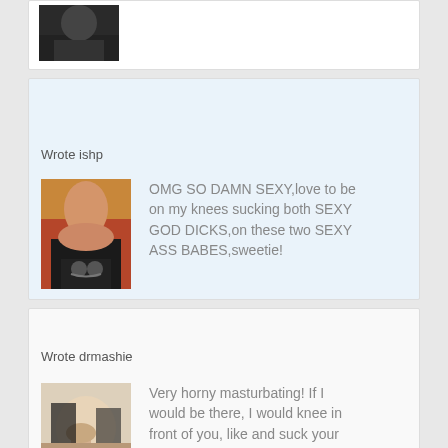[Figure (photo): Small thumbnail photo at top, dark background, partial figure visible]
Wrote ishp
[Figure (photo): Profile photo of a woman with red hair wearing a necklace]
OMG SO DAMN SEXY,love to be on my knees sucking both SEXY GOD DICKS,on these two SEXY ASS BABES,sweetie!
Wrote drmashie
[Figure (photo): Explicit thumbnail image]
Very horny masturbating! If I would be there, I would knee in front of you, like and suck your very nice and big cock until cum (all in my fath and mouth)!